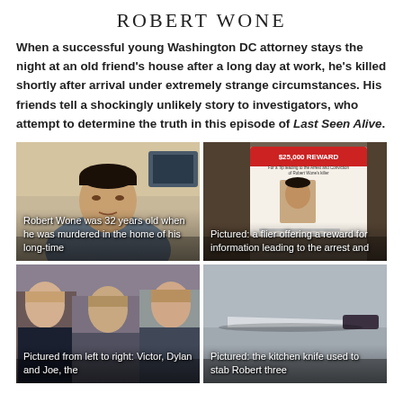ROBERT WONE
When a successful young Washington DC attorney stays the night at an old friend's house after a long day at work, he's killed shortly after arrival under extremely strange circumstances. His friends tell a shockingly unlikely story to investigators, who attempt to determine the truth in this episode of Last Seen Alive.
[Figure (photo): Photo of Robert Wone, a young Asian man, with caption: Robert Wone was 32 years old when he was murdered in the home of his long-time]
[Figure (photo): Photo of a $25,000 reward flier for information leading to the arrest and conviction of Robert Wone's killer]
[Figure (photo): Photo of three men (Victor, Dylan and Joe) with caption: Pictured from left to right: Victor, Dylan and Joe, the]
[Figure (photo): Photo of a kitchen knife with caption: Pictured: the kitchen knife used to stab Robert three]